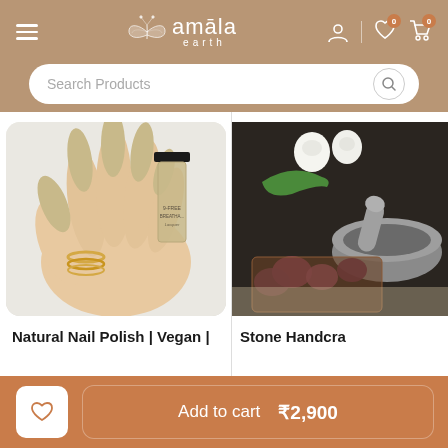amāla earth — Search Products
[Figure (photo): Product photo of a hand holding a bottle of nail polish with beige/khaki colored nails, long almond shape, brand Ellements, 9-Free Breathable Lacquer]
Natural Nail Polish | Vegan |
[Figure (photo): Product photo of a stone mortar and pestle with garlic cloves, green chili peppers and onions on a dark background]
Stone Handcra
Add to cart  ₹2,900